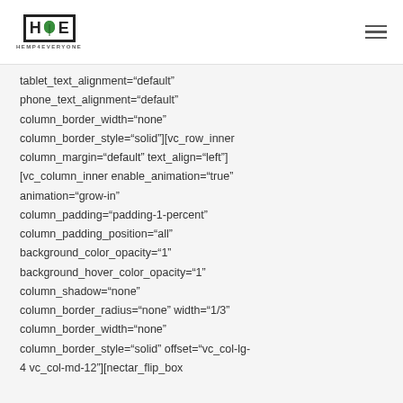Hemp4Everyone logo and navigation
tablet_text_alignment="default" phone_text_alignment="default" column_border_width="none" column_border_style="solid"][vc_row_inner column_margin="default" text_align="left"] [vc_column_inner enable_animation="true" animation="grow-in" column_padding="padding-1-percent" column_padding_position="all" background_color_opacity="1" background_hover_color_opacity="1" column_shadow="none" column_border_radius="none" width="1/3" column_border_width="none" column_border_style="solid" offset="vc_col-lg-4 vc_col-md-12"][nectar_flip_box